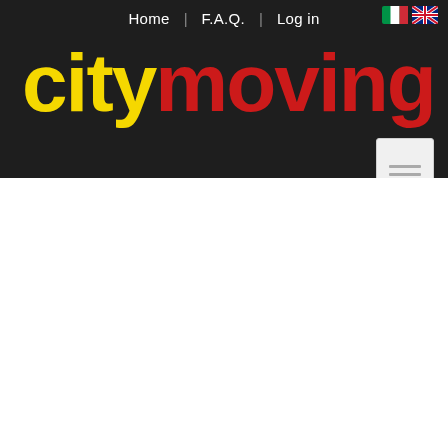Home | F.A.Q. | Log in
[Figure (logo): citymoving logo — 'city' in yellow bold rounded font, 'moving' in red bold rounded font, on dark background]
[Figure (other): Small document/widget icon with three horizontal lines, white/light gray background]